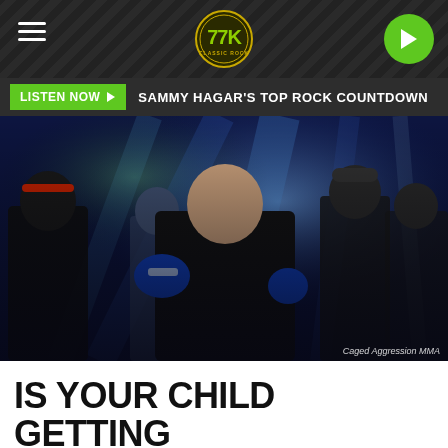TTK Radio - Hamburger menu, logo, play button
LISTEN NOW ▶  SAMMY HAGAR'S TOP ROCK COUNTDOWN
[Figure (photo): MMA fighter walking out to the ring in blue boxing gloves and black t-shirt with lion graphic, flanked by team members, blue stage lighting. Photo credit: Caged Aggression MMA]
IS YOUR CHILD GETTING BULLIED? IOWA FIGHTER GIVES